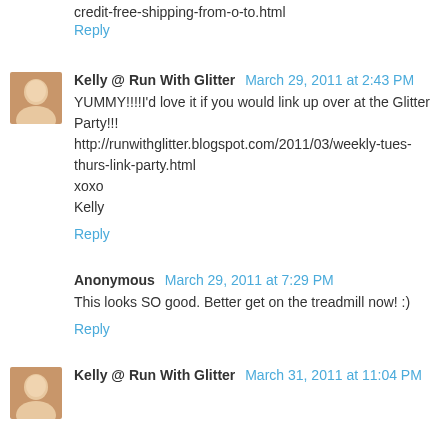credit-free-shipping-from-o-to.html
Reply
Kelly @ Run With Glitter March 29, 2011 at 2:43 PM
YUMMY!!!!I'd love it if you would link up over at the Glitter Party!!!
http://runwithglitter.blogspot.com/2011/03/weekly-tues-thurs-link-party.html
xoxo
Kelly
Reply
Anonymous March 29, 2011 at 7:29 PM
This looks SO good. Better get on the treadmill now! :)
Reply
Kelly @ Run With Glitter March 31, 2011 at 11:04 PM